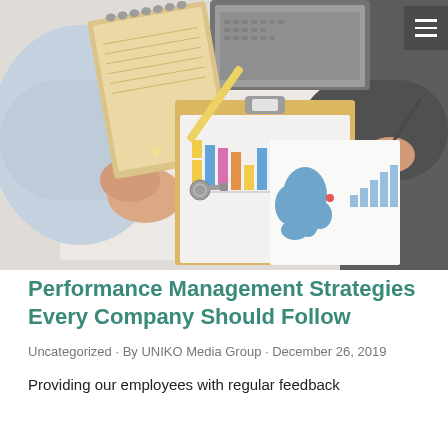[Figure (photo): Overhead view of two people at a meeting table reviewing business charts and graphs on paper, with a laptop, notepad, keys, and pencil visible. One person writes with a pen, the other has hands clasped.]
Performance Management Strategies Every Company Should Follow
Uncategorized · By UNIKO Media Group · December 26, 2019
Providing our employees with regular feedback